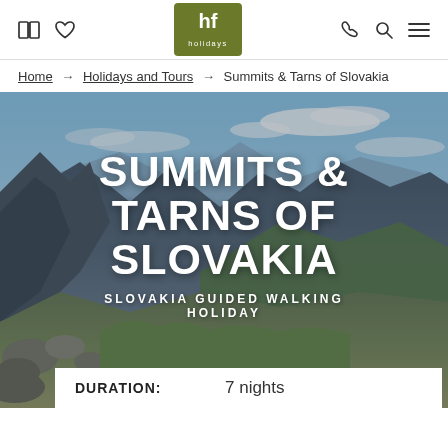hf holidays — navigation header with book, favourite, phone, search, menu icons
Home → Holidays and Tours → Summits & Tarns of Slovakia
[Figure (photo): Mountain landscape panorama showing rocky peaks of the High Tatras in Slovakia under a blue sky with white clouds. Green alpine meadows and rocky terrain in foreground. Large bold white text overlay reads 'SUMMITS & TARNS OF SLOVAKIA' with subtitle 'SLOVAKIA GUIDED WALKING HOLIDAY'. A white info bar at bottom shows 'DURATION: 7 nights'.]
DURATION: 7 nights